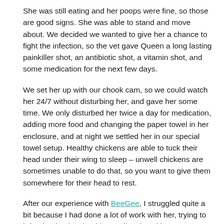She was still eating and her poops were fine, so those are good signs. She was able to stand and move about. We decided we wanted to give her a chance to fight the infection, so the vet gave Queen a long lasting painkiller shot, an antibiotic shot, a vitamin shot, and some medication for the next few days.
We set her up with our chook cam, so we could watch her 24/7 without disturbing her, and gave her some time. We only disturbed her twice a day for medication, adding more food and changing the paper towel in her enclosure, and at night we settled her in our special towel setup. Healthy chickens are able to tuck their head under their wing to sleep – unwell chickens are sometimes unable to do that, so you want to give them somewhere for their head to rest.
After our experience with BeeGee, I struggled quite a bit because I had done a lot of work with her, trying to bring her back to health. I really missed her. I was very determined not to get my hopes up and not to get too attached to this gorgeous chicken who suddenly was not fleeing away from me. But I knew that was her personality, so she must not be feeling well to be compliant and allow us to handle her.